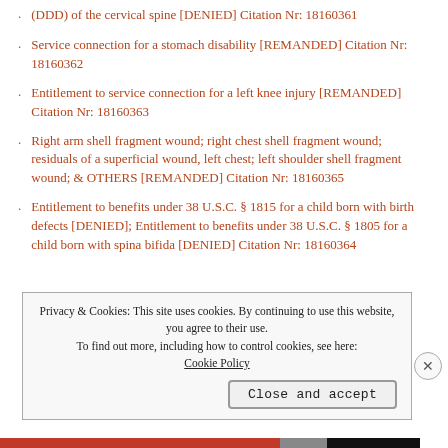(DDD) of the cervical spine [DENIED] Citation Nr: 18160361
Service connection for a stomach disability [REMANDED] Citation Nr: 18160362
Entitlement to service connection for a left knee injury [REMANDED] Citation Nr: 18160363
Right arm shell fragment wound; right chest shell fragment wound; residuals of a superficial wound, left chest; left shoulder shell fragment wound; & OTHERS [REMANDED] Citation Nr: 18160365
Entitlement to benefits under 38 U.S.C. § 1815 for a child born with birth defects [DENIED]; Entitlement to benefits under 38 U.S.C. § 1805 for a child born with spina bifida [DENIED] Citation Nr: 18160364
Privacy & Cookies: This site uses cookies. By continuing to use this website, you agree to their use. To find out more, including how to control cookies, see here: Cookie Policy
Close and accept